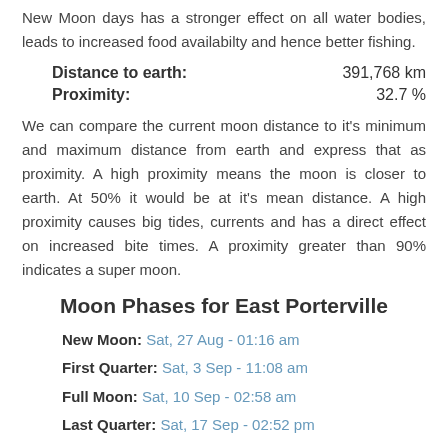New Moon days has a stronger effect on all water bodies, leads to increased food availabilty and hence better fishing.
| Label | Value |
| --- | --- |
| Distance to earth: | 391,768 km |
| Proximity: | 32.7 % |
We can compare the current moon distance to it's minimum and maximum distance from earth and express that as proximity. A high proximity means the moon is closer to earth. At 50% it would be at it's mean distance. A high proximity causes big tides, currents and has a direct effect on increased bite times. A proximity greater than 90% indicates a super moon.
Moon Phases for East Porterville
New Moon: Sat, 27 Aug - 01:16 am
First Quarter: Sat, 3 Sep - 11:08 am
Full Moon: Sat, 10 Sep - 02:58 am
Last Quarter: Sat, 17 Sep - 02:52 pm
New Moon: Sun, 25 Sep - 02:54 pm
Full Moon: Sun, 9 Oct - 01:54 pm